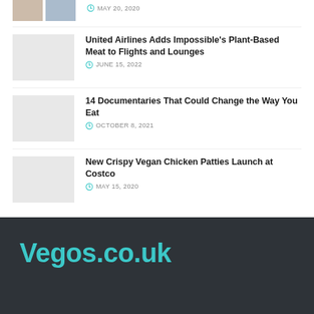[Figure (photo): Partial top article with thumbnail image of plant-based meat products]
MAY 20, 2020
United Airlines Adds Impossible's Plant-Based Meat to Flights and Lounges
JUNE 15, 2022
14 Documentaries That Could Change the Way You Eat
OCTOBER 8, 2021
New Crispy Vegan Chicken Patties Launch at Costco
MAY 15, 2020
Vegos.co.uk